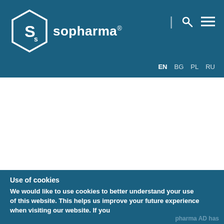sopharma® — EN BG PL RU
[Figure (logo): Sopharma logo: hexagonal badge with stylized S letters inside, white on teal background, with 'sopharma®' text to the right]
Use of cookies
We would like to use cookies to better understand your use of this website. This helps us improve your future experience when visiting our website. If you
pharma AD has